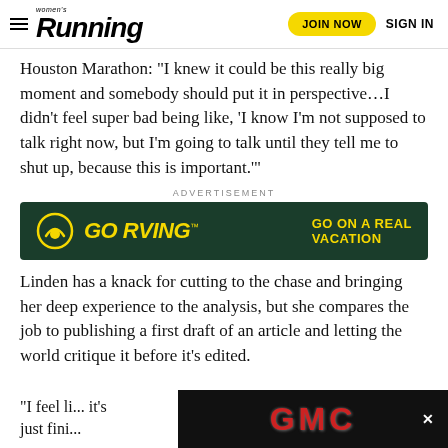Women's Running — JOIN NOW   SIGN IN
Houston Marathon: "I knew it could be this really big moment and somebody should put it in perspective…I didn't feel super bad being like, 'I know I'm not supposed to talk right now, but I'm going to talk until they tell me to shut up, because this is important.'"
ADVERTISEMENT
[Figure (other): GO RVING advertisement banner — dark green background with GO RVING logo in yellow italic text and tagline 'GO ON A REAL VACATION' in yellow bold text]
Linden has a knack for cutting to the chase and bringing her deep experience to the analysis, but she compares the job to publishing a first draft of an article and letting the world critique it before it's edited.
[Figure (other): GMC advertisement banner — black background with red GMC logo text and a close X button]
"I feel li... it's just fini...